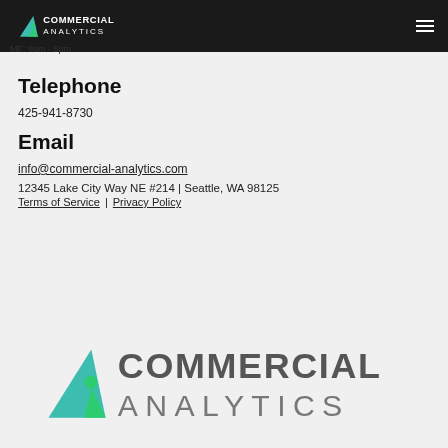Commercial Analytics (logo + navigation bar)
MF: 9am - 5pm
Telephone
425-941-8730
Email
info@commercial-analytics.com
12345 Lake City Way NE #214 | Seattle, WA 98125
Terms of Service  |  Privacy Policy
[Figure (logo): Commercial Analytics logo — teal and green mountain/triangle icon with company name in gray]